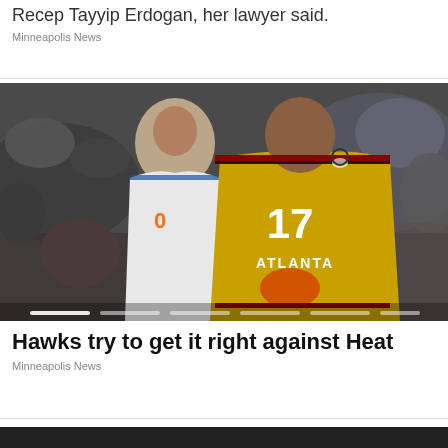Recep Tayyip Erdogan, her lawyer said.
Minneapolis News
[Figure (photo): Two basketball players, one in a yellow Atlanta Hawks #17 jersey and one in a white New York Knicks jersey, looking upward during a game with blurred crowd in background.]
Hawks try to get it right against Heat
Minneapolis News